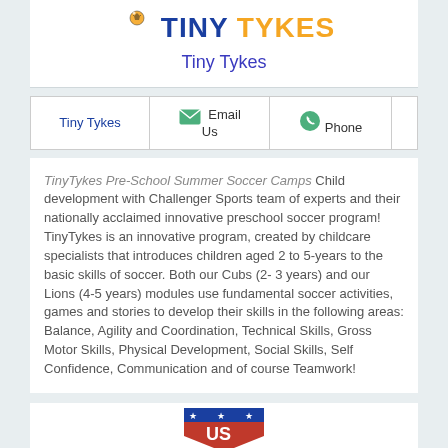[Figure (logo): Tiny Tykes logo with blue TINY and orange TYKES text and soccer ball icon]
Tiny Tykes
| Tiny Tykes | Email Us | Phone |  |
| --- | --- | --- | --- |
|  |
TinyTykes Pre-School Summer Soccer Camps Child development with Challenger Sports team of experts and their nationally acclaimed innovative preschool soccer program! TinyTykes is an innovative program, created by childcare specialists that introduces children aged 2 to 5-years to the basic skills of soccer. Both our Cubs (2- 3 years) and our Lions (4-5 years) modules use fundamental soccer activities, games and stories to develop their skills in the following areas: Balance, Agility and Coordination, Technical Skills, Gross Motor Skills, Physical Development, Social Skills, Self Confidence, Communication and of course Teamwork!
[Figure (logo): US soccer or similar logo with red and blue shield and stars]